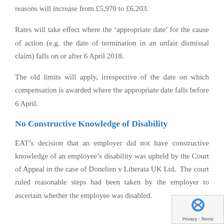reasons will increase from £5,970 to £6,203.
Rates will take effect where the ‘appropriate date’ for the cause of action (e.g. the date of termination in an unfair dismissal claim) falls on or after 6 April 2018.
The old limits will apply, irrespective of the date on which compensation is awarded where the appropriate date falls before 6 April.
No Constructive Knowledge of Disability
EAT’s decision that an employer did not have constructive knowledge of an employee’s disability was upheld by the Court of Appeal in the case of Donelien v Liberata UK Ltd.  The court ruled reasonable steps had been taken by the employer to ascertain whether the employee was disabled.